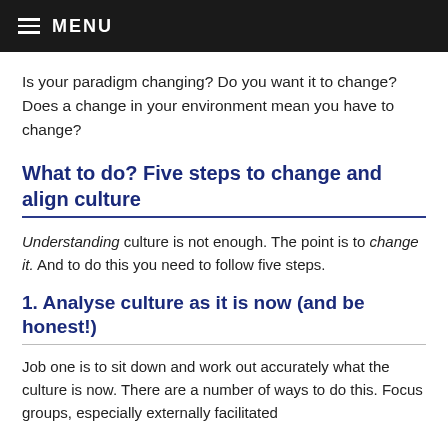MENU
Is your paradigm changing? Do you want it to change? Does a change in your environment mean you have to change?
What to do? Five steps to change and align culture
Understanding culture is not enough. The point is to change it. And to do this you need to follow five steps.
1. Analyse culture as it is now (and be honest!)
Job one is to sit down and work out accurately what the culture is now. There are a number of ways to do this. Focus groups, especially externally facilitated